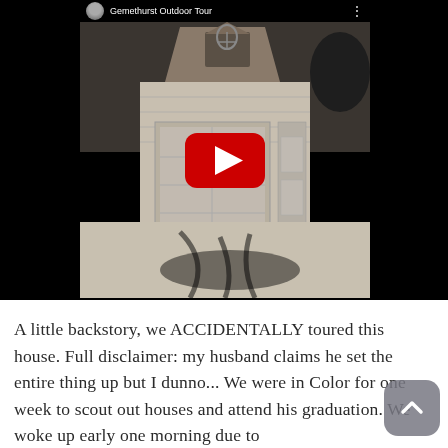[Figure (screenshot): YouTube video embed screenshot showing a house with garage and dormer window, with a YouTube play button overlay. Top bar shows a circular avatar, channel name 'Gemethurst Outdoor Tour', and a three-dot menu. The video thumbnail is a black-and-white/sepia photo of a house exterior with trees.]
A little backstory, we ACCIDENTALLY toured this house. Full disclaimer: my husband claims he set the entire thing up but I dunno... We were in Color for one week to scout out houses and attend his graduation. We woke up early one morning due to